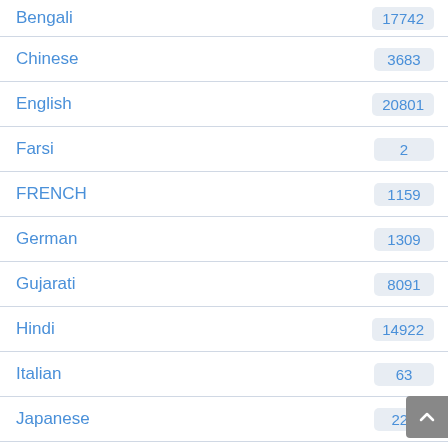| Language | Count |
| --- | --- |
| Bengali | 17742 |
| Chinese | 3683 |
| English | 20801 |
| Farsi | 2 |
| FRENCH | 1159 |
| German | 1309 |
| Gujarati | 8091 |
| Hindi | 14922 |
| Italian | 63 |
| Japanese | 220 |